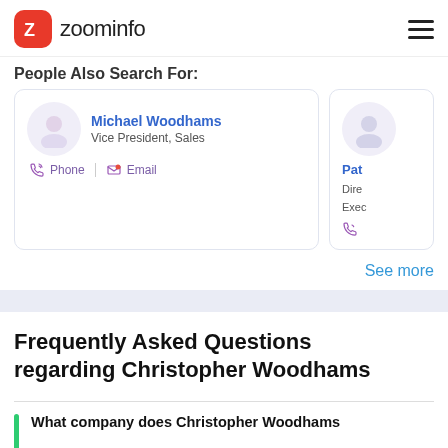zoominfo
People Also Search For:
Michael Woodhams
Vice President, Sales
Phone | Email
Pat...
Dire...
Exec...
See more
Frequently Asked Questions regarding Christopher Woodhams
What company does Christopher Woodhams